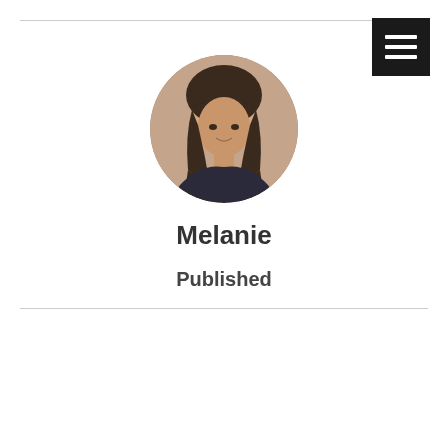[Figure (photo): Circular profile photo of a woman named Melanie with dark hair and bangs, wearing a dark top, against a warm-toned background.]
Melanie
Published